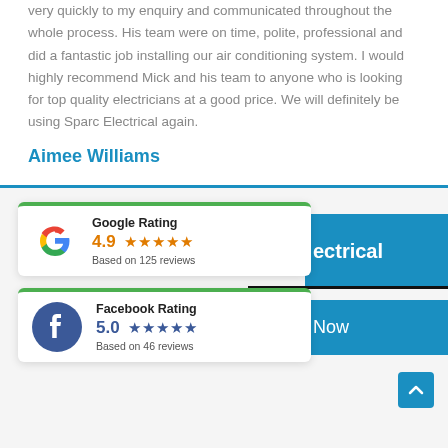very quickly to my enquiry and communicated throughout the whole process. His team were on time, polite, professional and did a fantastic job installing our air conditioning system. I would highly recommend Mick and his team to anyone who is looking for top quality electricians at a good price. We will definitely be using Sparc Electrical again.
Aimee Williams
[Figure (infographic): Google Rating card showing 4.9 stars based on 125 reviews, with Google logo, overlapping blue banner showing 'ectrical' and 'Now', plus a Get Quote button]
[Figure (infographic): Facebook Rating card showing 5.0 stars based on 46 reviews, with Facebook logo]